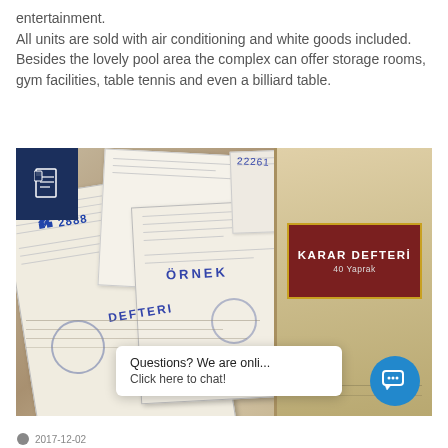entertainment.
All units are sold with air conditioning and white goods included.
Besides the lovely pool area the complex can offer storage rooms, gym facilities, table tennis and even a billiard table.
[Figure (photo): Photo of Turkish official documents (papers with stamps and blue text including 'ÖRNEK' and 'DEFTERI' and a number stamp '2888') scattered on a surface next to a beige book labeled 'KARAR DEFTERİ 40 Yaprak' with a dark red label and gold border. A dark blue square icon overlay is in the top-left corner of the photo. A live chat popup says 'Questions? We are onli...' and 'Click here to chat!' with a blue circular chat button.]
2017-12-02